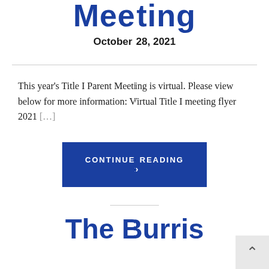Meeting
October 28, 2021
This year's Title I Parent Meeting is virtual. Please view below for more information: Virtual Title I meeting flyer 2021 […]
CONTINUE READING ›
The Burris